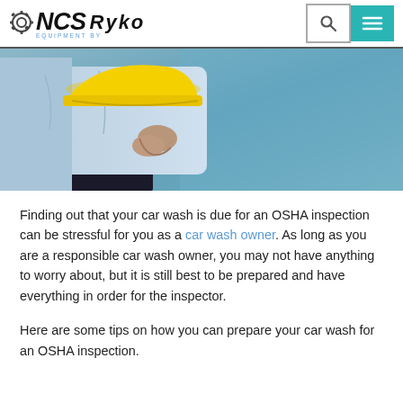NCS Ryko
[Figure (photo): Person in a blue shirt holding a yellow hard hat against a blue gradient background]
Finding out that your car wash is due for an OSHA inspection can be stressful for you as a car wash owner. As long as you are a responsible car wash owner, you may not have anything to worry about, but it is still best to be prepared and have everything in order for the inspector.
Here are some tips on how you can prepare your car wash for an OSHA inspection.